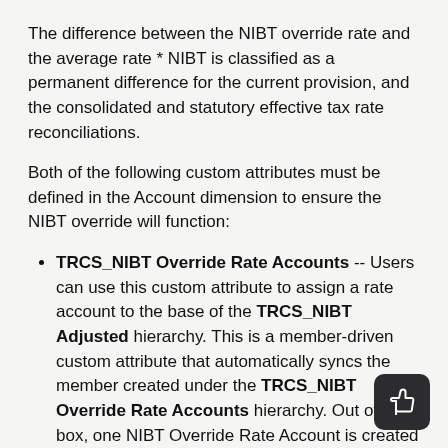The difference between the NIBT override rate and the average rate * NIBT is classified as a permanent difference for the current provision, and the consolidated and statutory effective tax rate reconciliations.
Both of the following custom attributes must be defined in the Account dimension to ensure the NIBT override will function:
TRCS_NIBT Override Rate Accounts -- Users can use this custom attribute to assign a rate account to the base of the TRCS_NIBT Adjusted hierarchy. This is a member-driven custom attribute that automatically syncs the member created under the TRCS_NIBT Override Rate Accounts hierarchy. Out of the box, one NIBT Override Rate Account is created under TRCS_NIBT Override Rate Accounts.
NIBT FX Override Difference Account -- Users